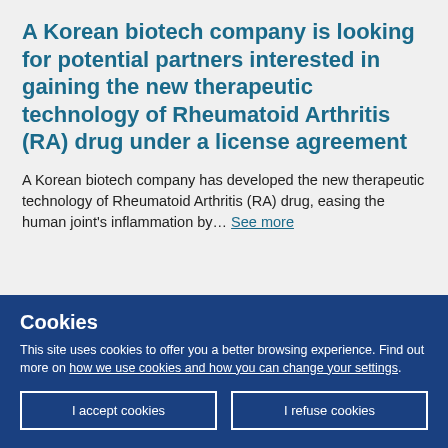A Korean biotech company is looking for potential partners interested in gaining the new therapeutic technology of Rheumatoid Arthritis (RA) drug under a license agreement
A Korean biotech company has developed the new therapeutic technology of Rheumatoid Arthritis (RA) drug, easing the human joint's inflammation by... See more
Cookies
This site uses cookies to offer you a better browsing experience. Find out more on how we use cookies and how you can change your settings.